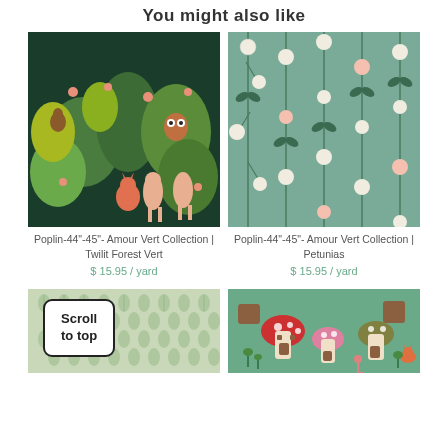You might also like
[Figure (photo): Poplin fabric with forest animals scene - dark green background with deer, owls, foxes and colorful trees]
Poplin-44"-45"- Amour Vert Collection | Twilit Forest Vert
$ 15.95 / yard
[Figure (photo): Poplin fabric with floral pattern - teal/sage background with white and pink flowers on stems]
Poplin-44"-45"- Amour Vert Collection | Petunias
$ 15.95 / yard
[Figure (photo): Light green fabric with small leaf/teardrop pattern repeat - Amour Vert Collection. A Scroll to top button overlay is visible.]
[Figure (photo): Fabric with mushroom village scene - teal background with illustrated mushroom houses, tree stumps, foxes]